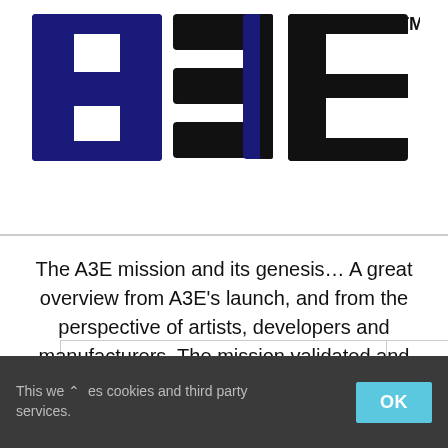[Figure (logo): A3E logo — large stylized letters 'A3E' in dark navy blue and black with a TM mark in the top right]
Go to...
The A3E mission and its genesis… A great overview from A3E's launch, and from the perspective of artists, developers and manufacturers. The mission validated and supported by the target A3E communities. A3E simply wants to help advance
This we [^] es cookies and third party services. OK